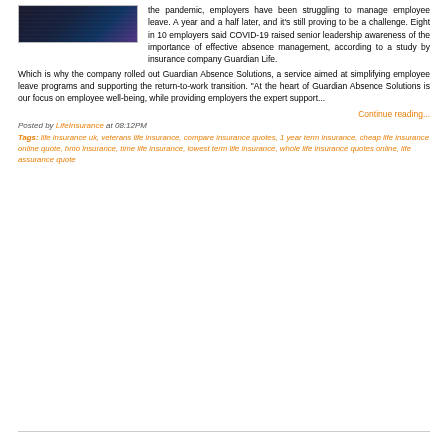[Figure (photo): A dark photograph showing people in what appears to be a formal or governmental setting]
the pandemic, employers have been struggling to manage employee leave. A year and a half later, and it's still proving to be a challenge. Eight in 10 employers said COVID-19 raised senior leadership awareness of the importance of effective absence management, according to a study by insurance company Guardian Life. Which is why the company rolled out Guardian Absence Solutions, a service aimed at simplifying employee leave programs and supporting the return-to-work transition. "At the heart of Guardian Absence Solutions is our focus on employee well-being, while providing employers the expert support...
Continue reading...
Posted by LifeInsurance at 08:12PM
Tags: life insurance uk, veterans life insurance, compare insurance quotes, 1 year term insurance, cheap life insurance online quote, hmo insurance, time life insurance, lowest term life insurance, whole life insurance quotes online, life assurance quote